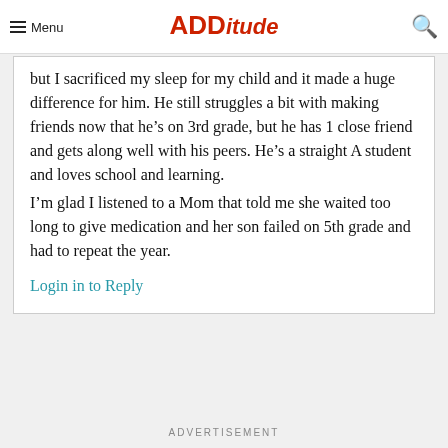Menu | ADDitude
but I sacrificed my sleep for my child and it made a huge difference for him. He still struggles a bit with making friends now that he’s on 3rd grade, but he has 1 close friend and gets along well with his peers. He’s a straight A student and loves school and learning.
I’m glad I listened to a Mom that told me she waited too long to give medication and her son failed on 5th grade and had to repeat the year.
Login in to Reply
ADVERTISEMENT